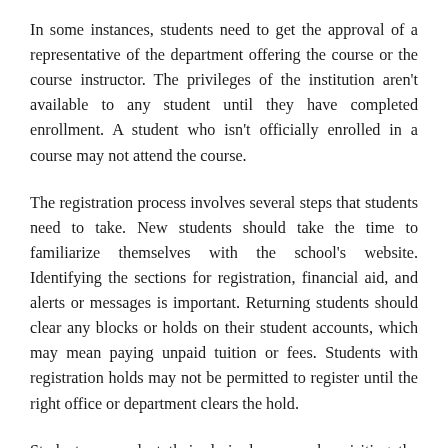In some instances, students need to get the approval of a representative of the department offering the course or the course instructor. The privileges of the institution aren't available to any student until they have completed enrollment. A student who isn't officially enrolled in a course may not attend the course.
The registration process involves several steps that students need to take. New students should take the time to familiarize themselves with the school's website. Identifying the sections for registration, financial aid, and alerts or messages is important. Returning students should clear any blocks or holds on their student accounts, which may mean paying unpaid tuition or fees. Students with registration holds may not be permitted to register until the right office or department clears the hold.
Students can select their desired courses by visiting the online schedule of classes available on the school's website. Degree-seeking students should choose courses that match their